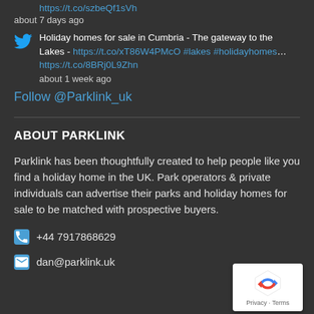https://t.co/szbeQf1sVh
about 7 days ago
Holiday homes for sale in Cumbria - The gateway to the Lakes - https://t.co/xT86W4PMcO #lakes #holidayhomes... https://t.co/8BRj0L9Zhn
about 1 week ago
Follow @Parklink_uk
ABOUT PARKLINK
Parklink has been thoughtfully created to help people like you find a holiday home in the UK. Park operators & private individuals can advertise their parks and holiday homes for sale to be matched with prospective buyers.
+44 7917868629
dan@parklink.uk